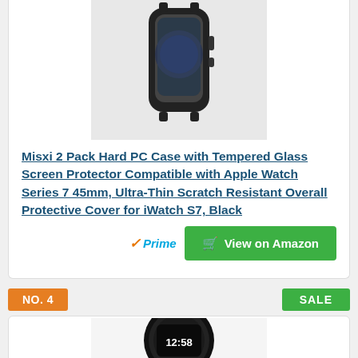[Figure (photo): Product image of Misxi 2 Pack Hard PC Case with Tempered Glass Screen Protector for Apple Watch Series 7 45mm, shown in black, top portion of card]
Misxi 2 Pack Hard PC Case with Tempered Glass Screen Protector Compatible with Apple Watch Series 7 45mm, Ultra-Thin Scratch Resistant Overall Protective Cover for iWatch S7, Black
[Figure (logo): Amazon Prime badge with orange checkmark and blue Prime text]
View on Amazon
NO. 4
SALE
[Figure (photo): Product image of a black fitness tracker/smartwatch showing time 12:58, partially visible at bottom of page]